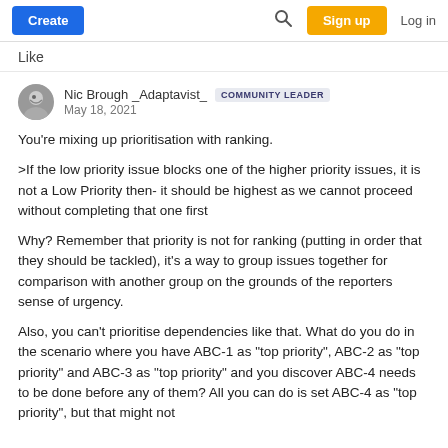Create  [search icon]  Sign up  Log in
Like
Nic Brough _Adaptavist_  COMMUNITY LEADER
May 18, 2021
You're mixing up prioritisation with ranking.
>If the low priority issue blocks one of the higher priority issues, it is not a Low Priority then- it should be highest as we cannot proceed without completing that one first
Why?  Remember that priority is not for ranking (putting in order that they should be tackled), it's a way to group issues together for comparison with another group on the grounds of the reporters sense of urgency.
Also, you can't prioritise dependencies like that.  What do you do in the scenario where you have ABC-1 as "top priority", ABC-2 as "top priority" and ABC-3 as "top priority" and you discover ABC-4 needs to be done before any of them?  All you can do is set ABC-4 as "top priority",  but that might not